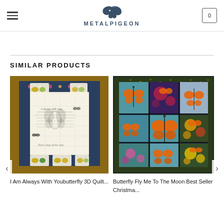METALPIGEON
SIMILAR PRODUCTS
[Figure (photo): Butterfly quilt product image - I Am Always With You butterfly 3D quilt with floral border and butterfly panels]
I Am Always With Youbutterfly 3D Quilt...
[Figure (photo): Colorful butterfly mosaic quilt - Butterfly Fly Me To The Moon Best Seller Christmas quilt with stained glass style butterfly panels]
Butterfly Fly Me To The Moon Best Seller Christma...